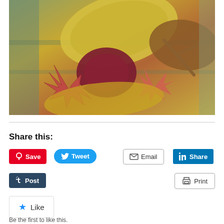[Figure (photo): Autumn leaves arrangement — red Japanese maple leaves, yellow and brown large leaves, small twigs on a plaid background]
Share this:
[Figure (infographic): Social sharing buttons: Save (Pinterest), Tweet (Twitter), Email, Share (LinkedIn), Post (Tumblr), Print]
Like
Be the first to like this.